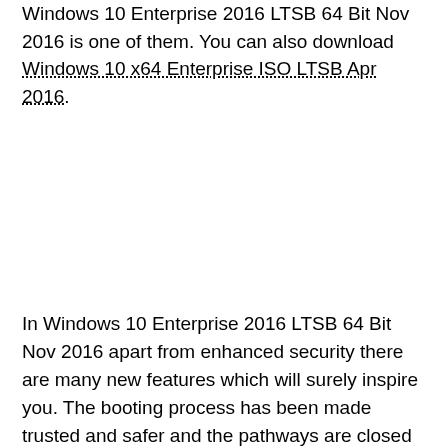Windows 10 Enterprise 2016 LTSB 64 Bit Nov 2016 is one of them. You can also download Windows 10 x64 Enterprise ISO LTSB Apr 2016.
In Windows 10 Enterprise 2016 LTSB 64 Bit Nov 2016 apart from enhanced security there are many new features which will surely inspire you. The booting process has been made trusted and safer and the pathways are closed which hides malware. Security will